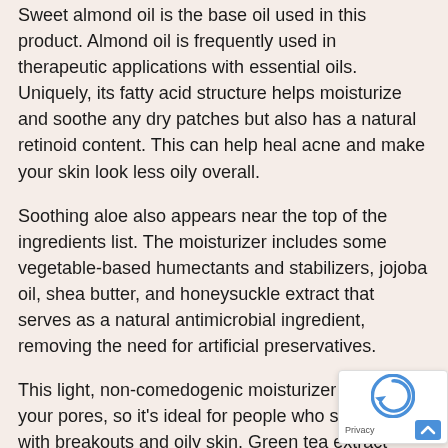Sweet almond oil is the base oil used in this product. Almond oil is frequently used in therapeutic applications with essential oils. Uniquely, its fatty acid structure helps moisturize and soothe any dry patches but also has a natural retinoid content. This can help heal acne and make your skin look less oily overall.
Soothing aloe also appears near the top of the ingredients list. The moisturizer includes some vegetable-based humectants and stabilizers, jojoba oil, shea butter, and honeysuckle extract that serves as a natural antimicrobial ingredient, removing the need for artificial preservatives.
This light, non-comedogenic moisturizer won't clog your pores, so it's ideal for people who struggle with breakouts and oily skin. Green tea extract helps bring balance to oily skin while healing